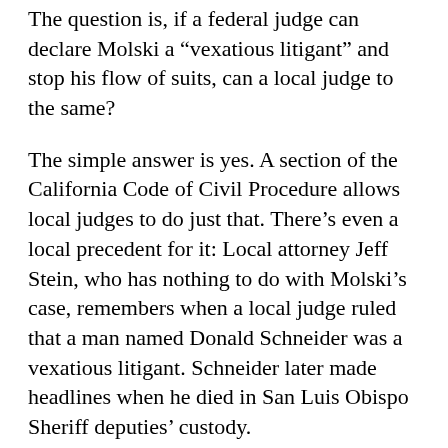The question is, if a federal judge can declare Molski a “vexatious litigant” and stop his flow of suits, can a local judge to the same?
The simple answer is yes. A section of the California Code of Civil Procedure allows local judges to do just that. There’s even a local precedent for it: Local attorney Jeff Stein, who has nothing to do with Molski’s case, remembers when a local judge ruled that a man named Donald Schneider was a vexatious litigant. Schneider later made headlines when he died in San Luis Obispo Sheriff deputies’ custody.
Jere Sullivan is representing Peachy Canyon, and he said the owners plan on “vigorously defending” themselves. As their lawyer, he’s planning on doing more research on